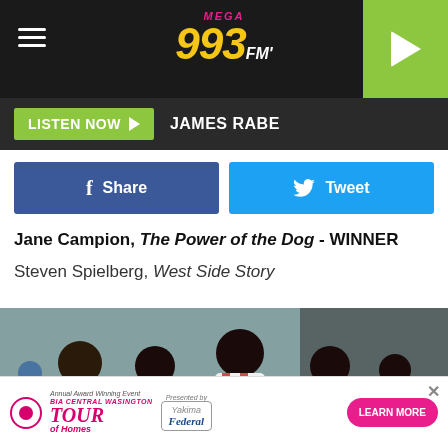MEGA 993 FM
LISTEN NOW  JAMES RABE
Share  Tweet
Jane Campion, The Power of the Dog - WINNER
Steven Spielberg, West Side Story
[Figure (photo): Group of people walking outdoors near a fence, man in center wearing white shirt with red stripes]
[Figure (infographic): Tour of Homes advertisement with Yakima Federal and Learn More button]